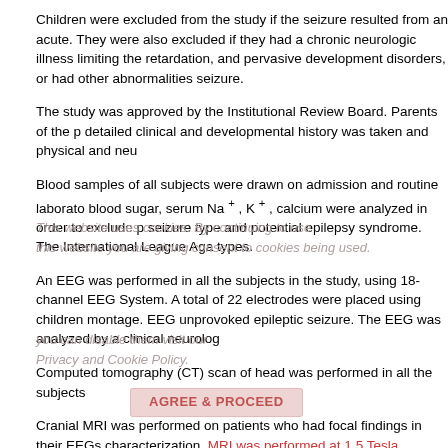Children were excluded from the study if the seizure resulted from an acute. They were also excluded if they had a chronic neurologic illness limiting the retardation, and pervasive development disorders, or had other abnormalities seizure.
The study was approved by the Institutional Review Board. Parents of the p detailed clinical and developmental history was taken and physical and neu
Blood samples of all subjects were drawn on admission and routine laborato blood sugar, serum Na+, K+, calcium were analyzed in order to exclude p seizure type and potential epilepsy syndrome. The International League Aga types.
An EEG was performed in all the subjects in the study, using 18-channel EEG System. A total of 22 electrodes were placed using children montage. EEG unprovoked epileptic seizure. The EEG was analyzed by a clinical neurolog
Computed tomography (CT) scan of head was performed in all the subjects
Cranial MRI was performed on patients who had focal findings in their EEGs characterization. MRI was performed at 1.5 Tesla.
Neuroimaging CT/MRI reports were categorized as normal and abnormal.
Neuroimaging CT